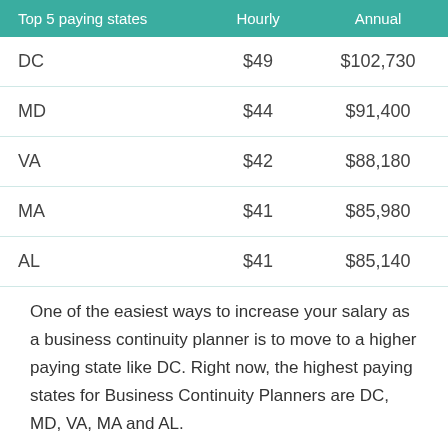| Top 5 paying states | Hourly | Annual |
| --- | --- | --- |
| DC | $49 | $102,730 |
| MD | $44 | $91,400 |
| VA | $42 | $88,180 |
| MA | $41 | $85,980 |
| AL | $41 | $85,140 |
One of the easiest ways to increase your salary as a business continuity planner is to move to a higher paying state like DC. Right now, the highest paying states for Business Continuity Planners are DC, MD, VA, MA and AL.